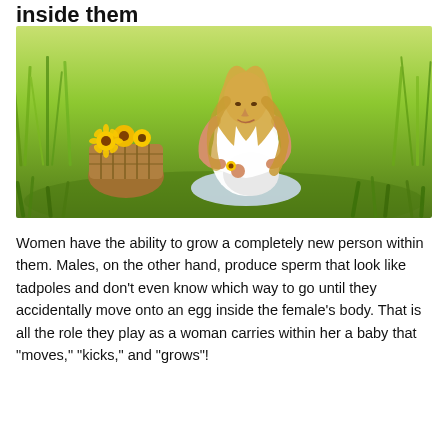inside them
[Figure (photo): A pregnant woman in a white top sitting cross-legged in a green grassy field, holding a yellow flower, with a wicker basket of sunflowers beside her.]
Women have the ability to grow a completely new person within them. Males, on the other hand, produce sperm that look like tadpoles and don't even know which way to go until they accidentally move onto an egg inside the female's body. That is all the role they play as a woman carries within her a baby that “moves,” “kicks,” and “grows”!